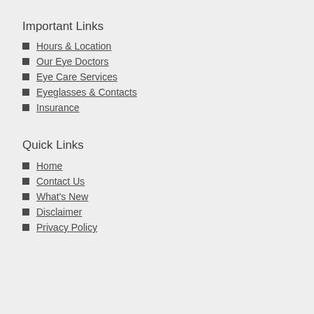Important Links
Hours & Location
Our Eye Doctors
Eye Care Services
Eyeglasses & Contacts
Insurance
Quick Links
Home
Contact Us
What's New
Disclaimer
Privacy Policy